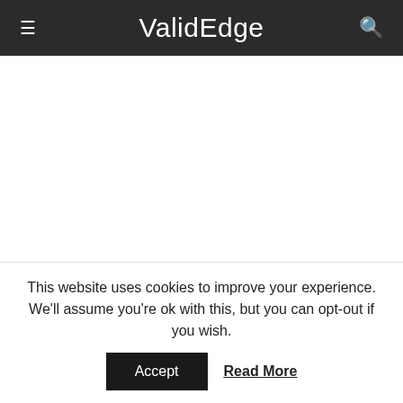ValidEdge
[Figure (other): White advertisement placeholder space]
It tends to remain active in the background on your Windows 10. It ensures that you always remain available for incoming
This website uses cookies to improve your experience. We'll assume you're ok with this, but you can opt-out if you wish.
Accept   Read More